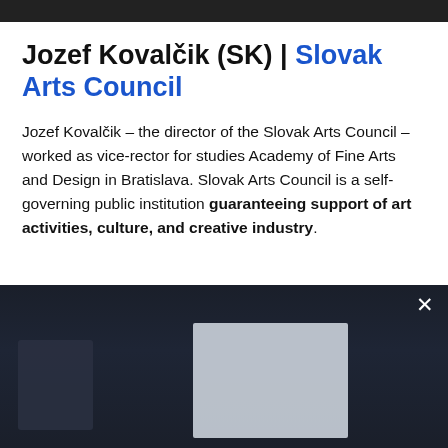Jozef Kovalčik (SK) | Slovak Arts Council
Jozef Kovalčik – the director of the Slovak Arts Council – worked as vice-rector for studies Academy of Fine Arts and Design in Bratislava. Slovak Arts Council is a self-governing public institution guaranteeing support of art activities, culture, and creative industry.
[Figure (screenshot): Dark background panel with a blurred/partially visible image, likely a video or media player interface. A white X close button is visible in the top-right corner of the dark panel.]